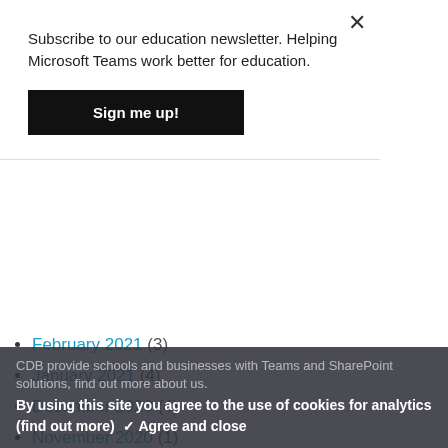Subscribe to our education newsletter. Helping Microsoft Teams work better for education.
Sign me up!
February 2021 (3)
January 2021 (4)
December 2020 (4)
November 2020 (1)
October 2020 (5)
August 2020 (1)
July 2020 (1)
June 2020 (2)
May 2020 (2)
April 2020 (2)
February 2020 (4)
CDB provide schools and businesses with Teams and SharePoint solutions, find out more about us.
By using this site you agree to the use of cookies for analytics (find out more) ✓ Agree and close